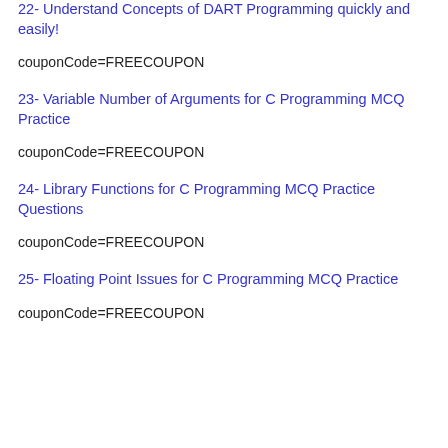22- Understand Concepts of DART Programming quickly and easily!
couponCode=FREECOUPON
23- Variable Number of Arguments for C Programming MCQ Practice
couponCode=FREECOUPON
24- Library Functions for C Programming MCQ Practice Questions
couponCode=FREECOUPON
25- Floating Point Issues for C Programming MCQ Practice
couponCode=FREECOUPON